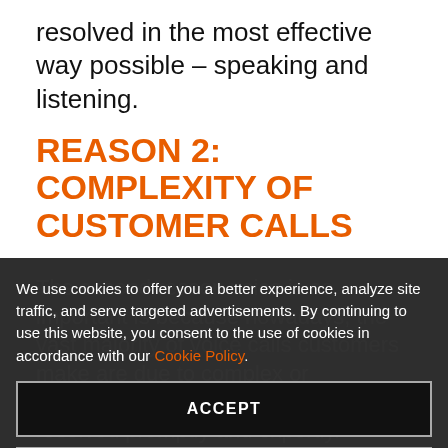resolved in the most effective way possible – speaking and listening.
REASON 2: COMPLEXITY OF CUSTOMER CALLS
The second reason voice is so important is because nowadays, the vast majority of voice calls customers make are due to complex or immediate issues that need to be resolved promptly and expertly.
We use cookies to offer you a better experience, analyze site traffic, and serve targeted advertisements. By continuing to use this website, you consent to the use of cookies in accordance with our Cookie Policy.
ACCEPT
MANAGE CHOICES
calls to a contact center represent the escalation itself. This is because these calls